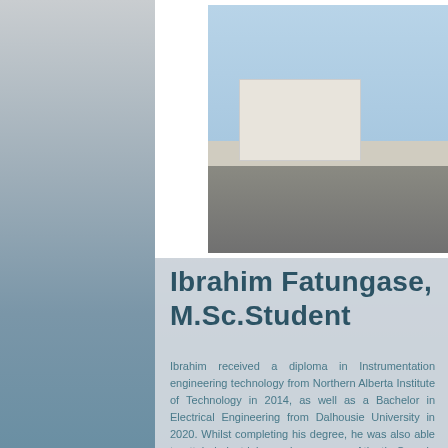[Figure (photo): Portrait photo of Ibrahim Fatungase, a young man wearing a black beanie and tan/yellow jacket, standing outdoors with buildings and utility poles in the background under a blue sky.]
Ibrahim Fatungase, M.Sc.Student
Ibrahim received a diploma in Instrumentation engineering technology from Northern Alberta Institute of Technology in 2014, as well as a Bachelor in Electrical Engineering from Dalhousie University in 2020. Whilst completing his degree, he was also able to attain industrial experience across Atlantic Canada as part of the Co-operative Education Engineering program. For his B.Eng, his final project involved the use of machine learning algorithms to manipulate playback audio input from a